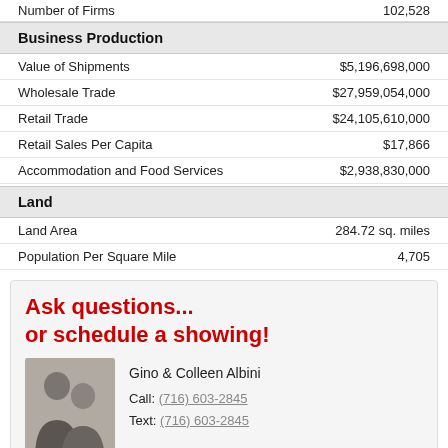|  |  |
| --- | --- |
| Number of Firms | 102,528 |
| Business Production |  |
| Value of Shipments | $5,196,698,000 |
| Wholesale Trade | $27,959,054,000 |
| Retail Trade | $24,105,610,000 |
| Retail Sales Per Capita | $17,866 |
| Accommodation and Food Services | $2,938,830,000 |
| Land |  |
| Land Area | 284.72 sq. miles |
| Population Per Square Mile | 4,705 |
Ask questions... or schedule a showing!
Gino & Colleen Albini
Call: (716) 603-2845
Text: (716) 603-2845